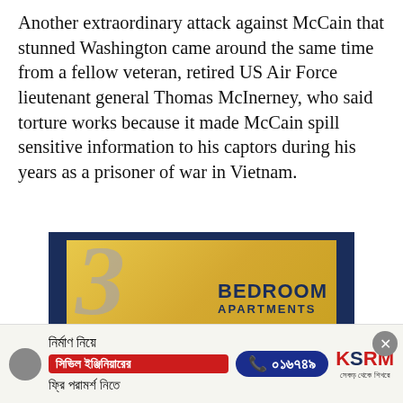Another extraordinary attack against McCain that stunned Washington came around the same time from a fellow veteran, retired US Air Force lieutenant general Thomas McInerney, who said torture works because it made McCain spill sensitive information to his captors during his years as a prisoner of war in Vietnam.
[Figure (photo): Advertisement image showing '3 BEDROOM APARTMENTS' text on a gold background with dark blue border]
[Figure (infographic): Bengali language advertisement for civil engineering consultation: 'নির্মাণ নিয়ে সিভিল ইঞ্জিনিয়ারের ফ্রি পরামর্শ নিতে' with phone number ০১৬৭৪৯ and KSRM logo]